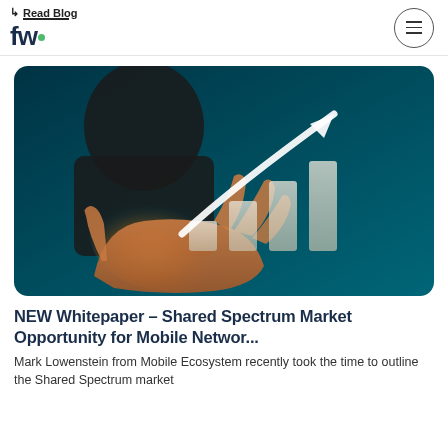Read Blog
[Figure (logo): fw logo with green dot]
[Figure (photo): Person holding glowing bar chart with upward arrow against teal background]
NEW Whitepaper – Shared Spectrum Market Opportunity for Mobile Networ...
Mark Lowenstein from Mobile Ecosystem recently took the time to outline the Shared Spectrum market